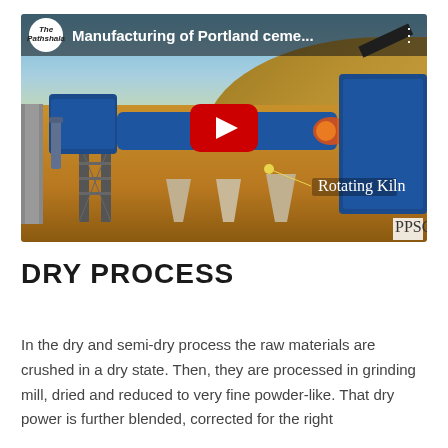[Figure (screenshot): YouTube video thumbnail showing a 3D animation of Portland cement manufacturing. Title reads 'Manufacturing of Portland ceme...' with The Pathshala channel logo. A rotating kiln is labeled with a yellow dot. Industrial machinery including a large rotating kiln and supporting structures are shown against a desert landscape. A red YouTube play button is centered on the image.]
DRY PROCESS
In the dry and semi-dry process the raw materials are crushed in a dry state. Then, they are processed in grinding mill, dried and reduced to very fine powder-like. That dry power is further blended, corrected for the right